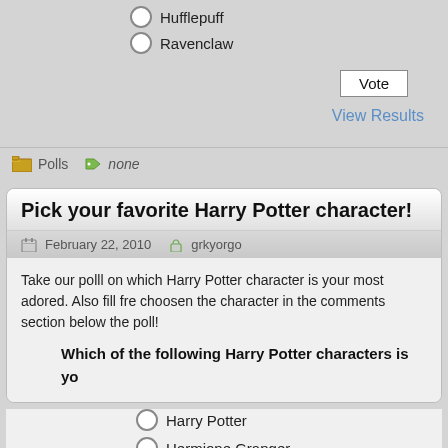Hufflepuff
Ravenclaw
Vote
View Results
Polls   none
Pick your favorite Harry Potter character!
February 22, 2010   grkyorgo
Take our polll on which Harry Potter character is your most adored. Also fill fre... choosen the character in the comments section below the poll!
Which of the following Harry Potter characters is yo...
Harry Potter
Hermione Granger
Ron Weasley
Draco Malfoy
Voldemort